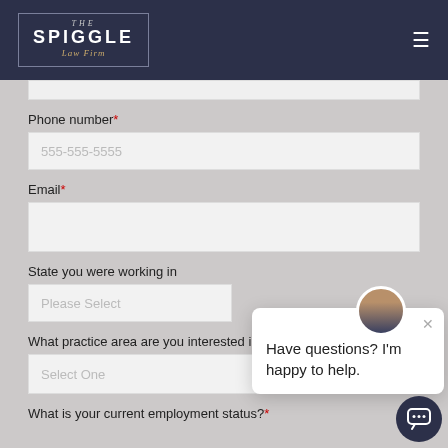[Figure (logo): The Spiggle Law Firm logo on dark navy background with hamburger menu icon]
Phone number*
555-555-5555 (placeholder)
Email*
State you were working in
Please Select (dropdown placeholder)
What practice area are you interested in?
Select One (dropdown placeholder)
Have questions? I'm happy to help.
What is your current employment status?*